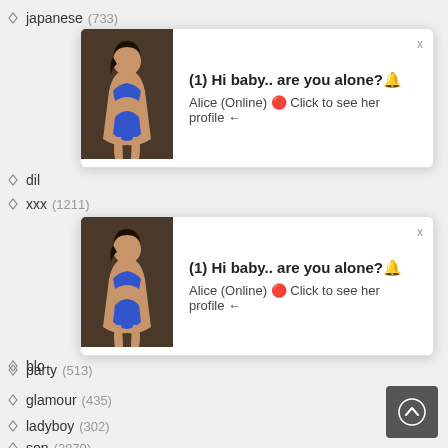japanese (733)
[Figure (other): Popup notification with image: (1) Hi baby.. are you alone? Alice (Online) Click to see her profile]
dil
xxx (1211)
[Figure (other): Popup notification with image: (1) Hi baby.. are you alone? Alice (Online) Click to see her profile]
blo
party (513)
glamour (435)
ladyboy (302)
son (2870)
casting (2129)